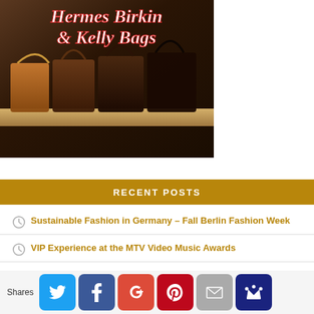[Figure (photo): Photo of Hermes Birkin & Kelly Bags displayed on a shelf, with italic red/white text overlay reading 'Hermes Birkin & Kelly Bags']
RECENT POSTS
Sustainable Fashion in Germany – Fall Berlin Fashion Week
VIP Experience at the MTV Video Music Awards
The Luxury Le Grand Mazarin – A 5 Star Hotel Opening Soon in Paris
Amilla Maldives To Become World's First Accessibility
[Figure (infographic): Social share bar with Shares label and buttons for Twitter, Facebook, Google+, Pinterest, Email, and Crown/Bloglovin]